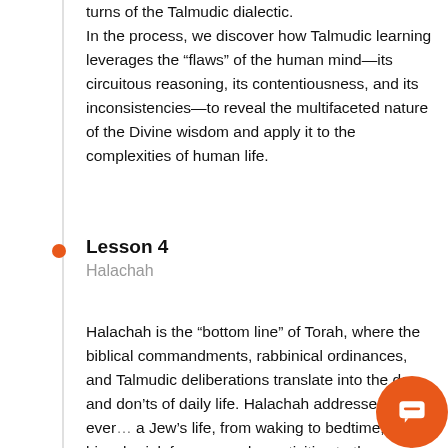turns of the Talmudic dialectic.
In the process, we discover how Talmudic learning leverages the “flaws” of the human mind—its circuitous reasoning, its contentiousness, and its inconsistencies—to reveal the multifaceted nature of the Divine wisdom and apply it to the complexities of human life.
Lesson 4
Halachah
Halachah is the “bottom line” of Torah, where the biblical commandments, rabbinical ordinances, and Talmudic deliberations translate into the dos and don’ts of daily life. Halachah addresses ever… a Jew’s life, from waking to bedtime, from bir… burial, from everyday activities to the most